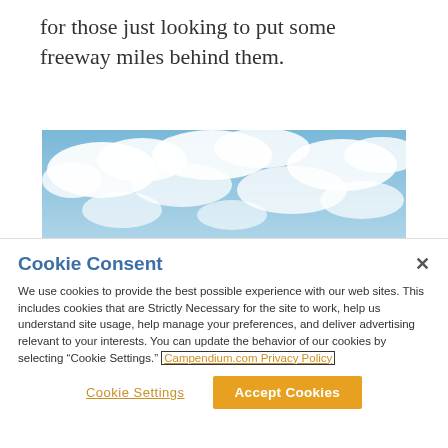for those just looking to put some freeway miles behind them.
[Figure (photo): Wide landscape photo showing a blue sky with white clouds and a tree visible at the bottom center]
Cookie Consent
We use cookies to provide the best possible experience with our web sites. This includes cookies that are Strictly Necessary for the site to work, help us understand site usage, help manage your preferences, and deliver advertising relevant to your interests. You can update the behavior of our cookies by selecting “Cookie Settings.” Campendium.com Privacy Policy
Cookie Settings
Accept Cookies